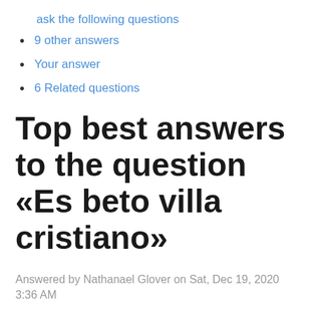ask the following questions
9 other answers
Your answer
6 Related questions
Top best answers to the question «Es beto villa cristiano»
Answered by Nathanael Glover on Sat, Dec 19, 2020 3:36 AM